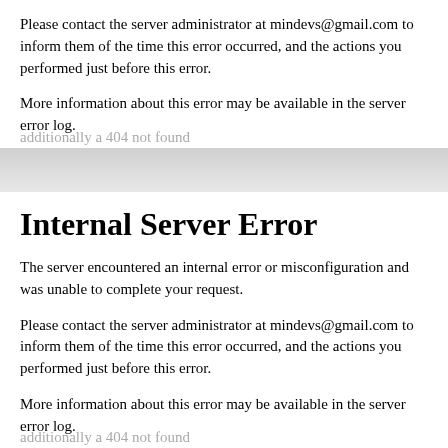Please contact the server administrator at mindevs@gmail.com to inform them of the time this error occurred, and the actions you performed just before this error.
More information about this error may be available in the server error log.
Internal Server Error
The server encountered an internal error or misconfiguration and was unable to complete your request.
Please contact the server administrator at mindevs@gmail.com to inform them of the time this error occurred, and the actions you performed just before this error.
More information about this error may be available in the server error log.